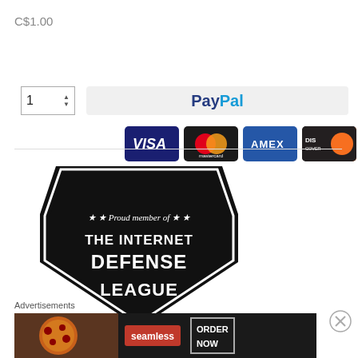C$1.00
[Figure (screenshot): Quantity selector showing '1' with up/down arrows, and a PayPal button, followed by payment card logos: VISA, Mastercard, AMEX, Discover]
[Figure (logo): Internet Defense League badge - black shield shape with text 'Proud member of THE INTERNET DEFENSE LEAGUE']
Advertisements
[Figure (screenshot): Seamless food delivery advertisement with pizza image, seamless logo, and ORDER NOW button]